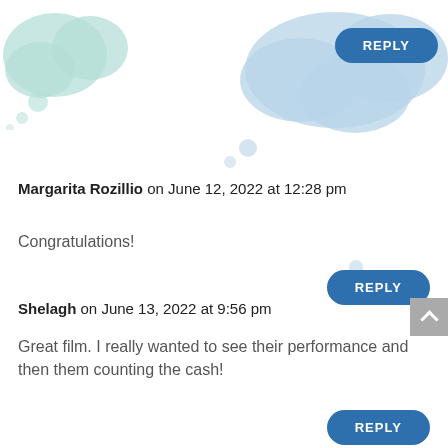[Figure (illustration): Decorative thought bubble clouds in light teal/mint at top-left corner of page]
[Figure (illustration): Decorative thought bubble clouds in light blue at top-center-right with a blue REPLY button overlaid]
Margarita Rozillio on June 12, 2022 at 12:28 pm
Congratulations!
[Figure (illustration): Blue REPLY button (rounded rectangle)]
Shelagh on June 13, 2022 at 9:56 pm
Great film. I really wanted to see their performance and then them counting the cash!
[Figure (illustration): Blue REPLY button (rounded rectangle)]